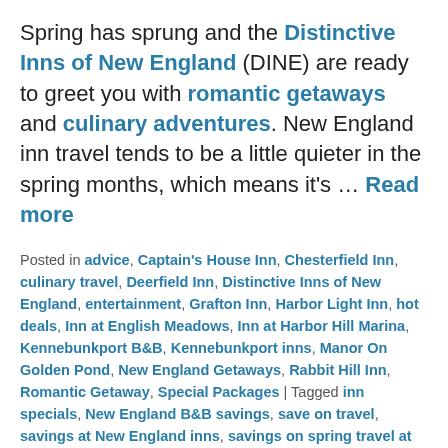Spring has sprung and the Distinctive Inns of New England (DINE) are ready to greet you with romantic getaways and culinary adventures. New England inn travel tends to be a little quieter in the spring months, which means it's … Read more
Posted in advice, Captain's House Inn, Chesterfield Inn, culinary travel, Deerfield Inn, Distinctive Inns of New England, entertainment, Grafton Inn, Harbor Light Inn, hot deals, Inn at English Meadows, Inn at Harbor Hill Marina, Kennebunkport B&B, Kennebunkport inns, Manor On Golden Pond, New England Getaways, Rabbit Hill Inn, Romantic Getaway, Special Packages | Tagged inn specials, New England B&B savings, save on travel, savings at New England inns, savings on spring travel at New England inns, Spring Getaways, spring inn specials, spring savings, spring specials at New England inns, spring travel savings, tips on spring travel deals, travel